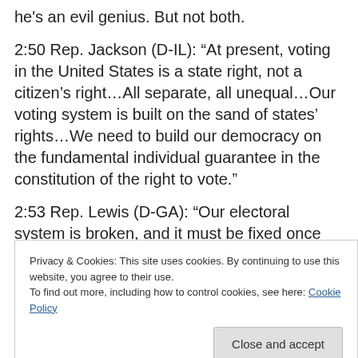he's an evil genius. But not both.
2:50 Rep. Jackson (D-IL): “At present, voting in the United States is a state right, not a citizen’s right…All separate, all unequal…Our voting system is built on the sand of states’ rights…We need to build our democracy on the fundamental individual guarantee in the constitution of the right to vote.”
2:53 Rep. Lewis (D-GA): “Our electoral system is broken, and it must be fixed once for all…How can get over it when people died for the right to vote?”
Privacy & Cookies: This site uses cookies. By continuing to use this website, you agree to their use.
To find out more, including how to control cookies, see here: Cookie Policy
2:57 Rep. Tiberi (R-OH): You’re hurting the feelings of